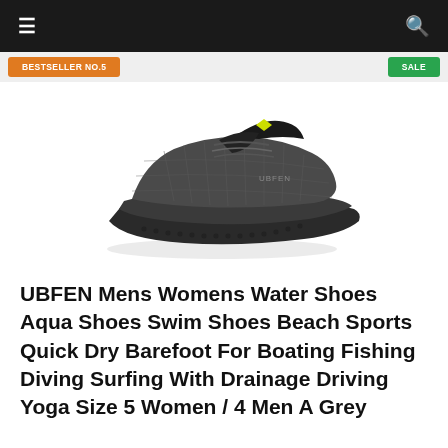≡  🔍
BESTSELLER NO.5  SALE
[Figure (photo): Grey UBFEN water shoe / aqua shoe with black mesh upper, bungee lace system with yellow-green accent, and textured rubber outsole, shown in side profile view on white background.]
UBFEN Mens Womens Water Shoes Aqua Shoes Swim Shoes Beach Sports Quick Dry Barefoot For Boating Fishing Diving Surfing With Drainage Driving Yoga Size 5 Women / 4 Men A Grey